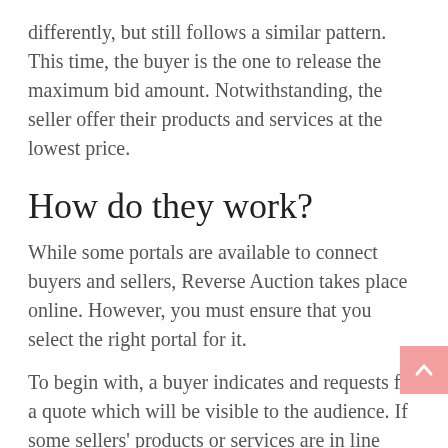differently, but still follows a similar pattern. This time, the buyer is the one to release the maximum bid amount. Notwithstanding, the seller offer their products and services at the lowest price.
How do they work?
While some portals are available to connect buyers and sellers, Reverse Auction takes place online. However, you must ensure that you select the right portal for it.
To begin with, a buyer indicates and requests for a quote which will be visible to the audience. If some sellers' products or services are in line with your request, they will then participate in the bidding alongside other sellers.